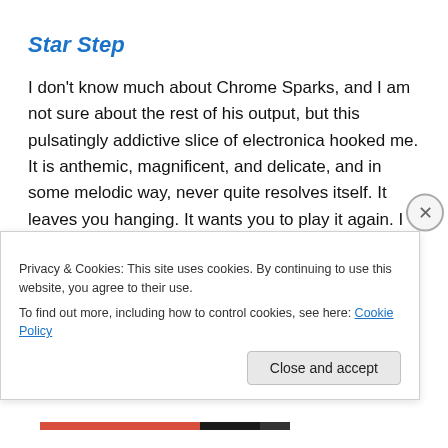Star Step
I don't know much about Chrome Sparks, and I am not sure about the rest of his output, but this pulsatingly addictive slice of electronica hooked me. It is anthemic, magnificent, and delicate, and in some melodic way, never quite resolves itself. It leaves you hanging. It wants you to play it again. I heard it first whilst making notes for my book, drinking coffee in the Centre for Contemporary Art in
Privacy & Cookies: This site uses cookies. By continuing to use this website, you agree to their use.
To find out more, including how to control cookies, see here: Cookie Policy
Close and accept